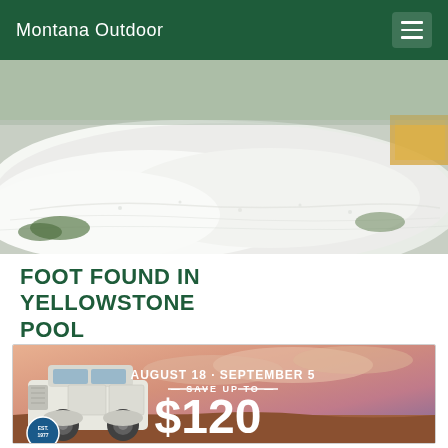Montana Outdoor
[Figure (photo): Aerial or ground-level view of a large white hail accumulation on the ground, with sparse vegetation visible at the edges and a yellow/orange object partially visible at the top right corner.]
FOOT FOUND IN YELLOWSTONE POOL
[Figure (photo): Advertisement featuring a white Jeep Wrangler on rocky red terrain against a dramatic sunset sky. Text reads: AUGUST 18 · SEPTEMBER 5 — SAVE UP TO — $120, with a circular EST. 1977 badge at the bottom left.]